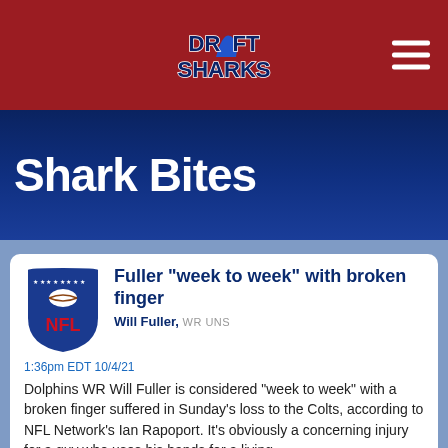[Figure (logo): Draft Sharks logo with shark fin icon on dark red navigation bar]
Shark Bites
Fuller "week to week" with broken finger
Will Fuller, WR UNS
1:36pm EDT 10/4/21
Dolphins WR Will Fuller is considered "week to week" with a broken finger suffered in Sunday's loss to the Colts, according to NFL Network's Ian Rapoport. It's obviously a concerning injury for a guy who uses his hands for a living.